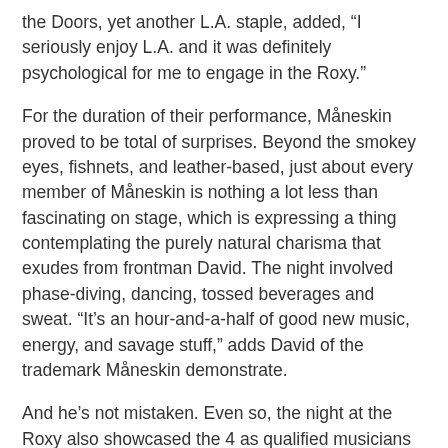the Doors, yet another L.A. staple, added, “I seriously enjoy L.A. and it was definitely psychological for me to engage in the Roxy.”
For the duration of their performance, Måneskin proved to be total of surprises. Beyond the smokey eyes, fishnets, and leather-based, just about every member of Måneskin is nothing a lot less than fascinating on stage, which is expressing a thing contemplating the purely natural charisma that exudes from frontman David. The night involved phase-diving, dancing, tossed beverages and sweat. “It’s an hour-and-a-half of good new music, energy, and savage stuff,” adds David of the trademark Måneskin demonstrate.
And he’s not mistaken. Even so, the night at the Roxy also showcased the 4 as qualified musicians and performers. They tackled handles like Franz Ferdinand’s “Take Me Out” into the Killers’ “Somebody Told Me” the Stooges’ “I Wanna Be Your Dog” and their most significant music at the minute, the 4 Seasons’ “Beggin’.” They also ripped through their strike “I Wanna Be Your Slave” and existing